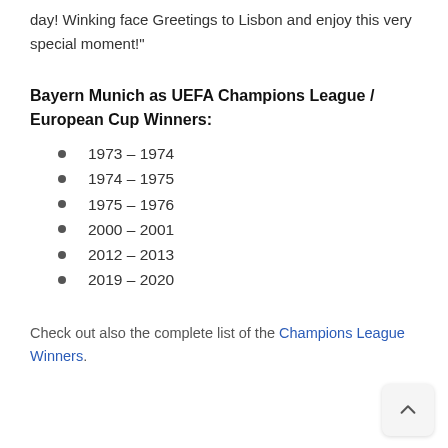day! Winking face Greetings to Lisbon and enjoy this very special moment!"
Bayern Munich as UEFA Champions League / European Cup Winners:
1973 – 1974
1974 – 1975
1975 – 1976
2000 – 2001
2012 – 2013
2019 – 2020
Check out also the complete list of the Champions League Winners.